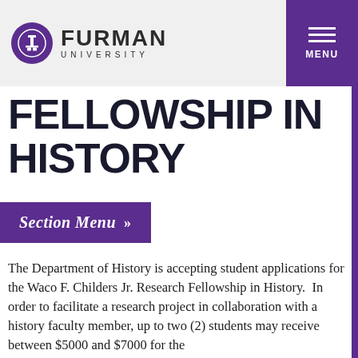Furman University
FELLOWSHIP IN HISTORY
Section Menu »
The Department of History is accepting student applications for the Waco F. Childers Jr. Research Fellowship in History.  In order to facilitate a research project in collaboration with a history faculty member, up to two (2) students may receive between $5000 and $7000 for the